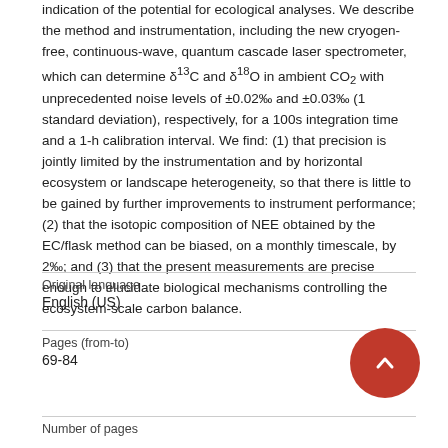indication of the potential for ecological analyses. We describe the method and instrumentation, including the new cryogen-free, continuous-wave, quantum cascade laser spectrometer, which can determine δ¹³C and δ¹⁸O in ambient CO₂ with unprecedented noise levels of ±0.02‰ and ±0.03‰ (1 standard deviation), respectively, for a 100s integration time and a 1-h calibration interval. We find: (1) that precision is jointly limited by the instrumentation and by horizontal ecosystem or landscape heterogeneity, so that there is little to be gained by further improvements to instrument performance; (2) that the isotopic composition of NEE obtained by the EC/flask method can be biased, on a monthly timescale, by 2‰; and (3) that the present measurements are precise enough to elucidate biological mechanisms controlling the ecosystem-scale carbon balance.
| Field | Value |
| --- | --- |
| Original language | English (US) |
| Pages (from-to) | 69-84 |
| Number of pages |  |